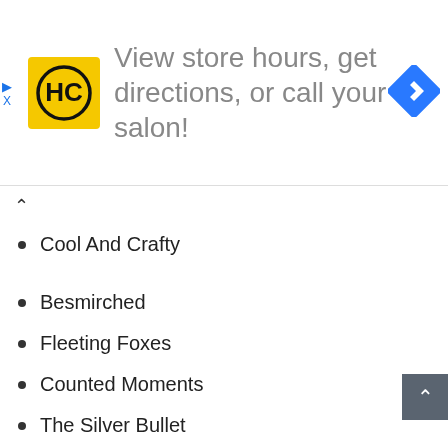[Figure (illustration): Advertisement banner with HC (Hair Club) yellow logo and text 'View store hours, get directions, or call your salon!' with a blue navigation diamond icon on the right.]
Cool And Crafty
Besmirched
Fleeting Foxes
Counted Moments
The Silver Bullet
Odd And Ends
Cool Beans
Compelling Convo
11. Take Your Time